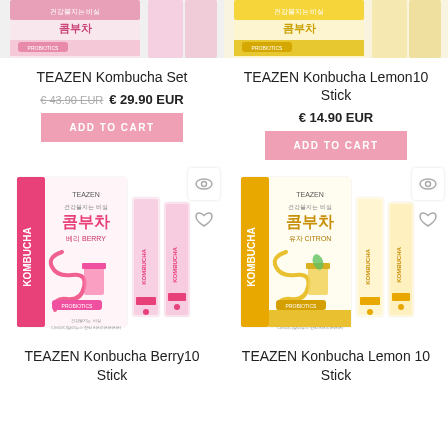[Figure (photo): Top partial view of TEAZEN Kombucha Set product packaging - pink theme]
[Figure (photo): Top partial view of TEAZEN Konbucha Lemon10 Stick product packaging - yellow theme]
TEAZEN Kombucha Set
€ 43.90 EUR  € 29.90 EUR
ADD TO CART
TEAZEN Konbucha Lemon10 Stick
€ 14.90 EUR
ADD TO CART
[Figure (photo): TEAZEN Konbucha Berry10 Stick product box with pink kombucha branding and two pink stick packets]
[Figure (photo): TEAZEN Konbucha Lemon 10 Stick product box with yellow/gold kombucha branding and two white/gold stick packets]
TEAZEN Konbucha Berry10 Stick
TEAZEN Konbucha Lemon 10 Stick